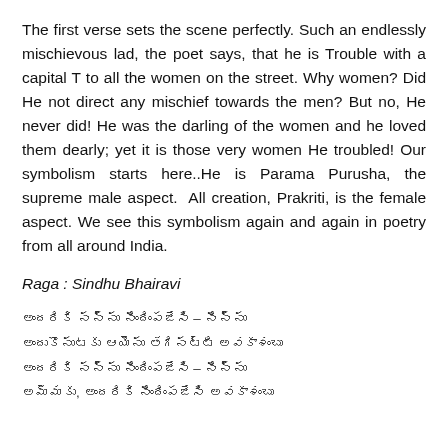The first verse sets the scene perfectly. Such an endlessly mischievous lad, the poet says, that he is Trouble with a capital T to all the women on the street. Why women? Did He not direct any mischief towards the men? But no, He never did! He was the darling of the women and he loved them dearly; yet it is those very women He troubled! Our symbolism starts here..He is Parama Purusha, the supreme male aspect.  All creation, Prakriti, is the female aspect. We see this symbolism again and again in poetry from all around India.
Raga : Sindhu Bhairavi
[Telugu script lines]